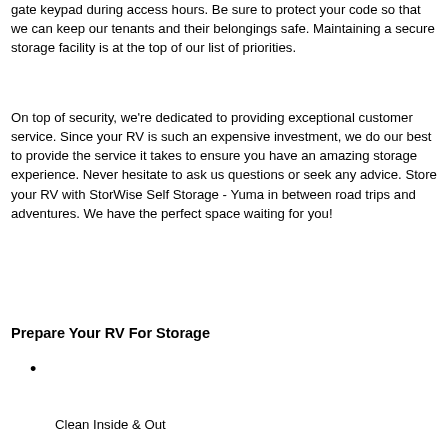gate keypad during access hours. Be sure to protect your code so that we can keep our tenants and their belongings safe. Maintaining a secure storage facility is at the top of our list of priorities.
On top of security, we're dedicated to providing exceptional customer service. Since your RV is such an expensive investment, we do our best to provide the service it takes to ensure you have an amazing storage experience. Never hesitate to ask us questions or seek any advice. Store your RV with StorWise Self Storage - Yuma in between road trips and adventures. We have the perfect space waiting for you!
Prepare Your RV For Storage
Clean Inside & Out